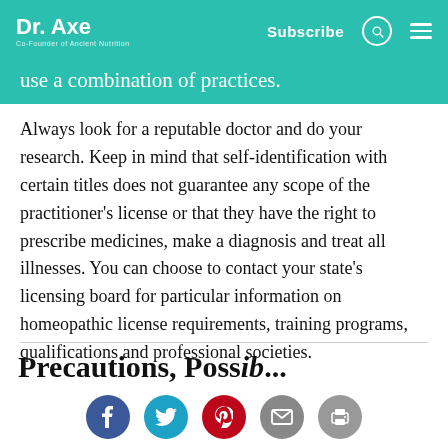Dr. Axe | Co-Founder of Ancient Nutrition | Subscribe
use a combination of practices.
Always look for a reputable doctor and do your research. Keep in mind that self-identification with certain titles does not guarantee any scope of the practitioner’s license or that they have the right to prescribe medicines, make a diagnosis and treat all illnesses. You can choose to contact your state’s licensing board for particular information on homeopathic license requirements, training programs, qualifications and professional societies.
Precautions, Possible...
[Figure (other): Social sharing icons: Facebook, Twitter, Pinterest, Email, Print]